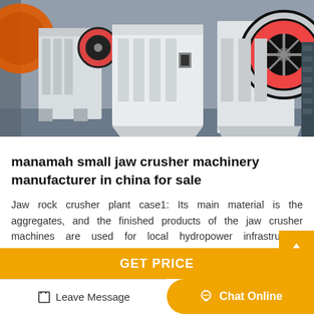[Figure (photo): Photo of white jaw crusher machines in a manufacturing facility, showing multiple units with large red flywheels in an industrial setting]
manamah small jaw crusher machinery manufacturer in china for sale
Jaw rock crusher plant case1: Its main material is the aggregates, and the finished products of the jaw crusher machines are used for local hydropower infrastructure construction. The three-stage project...
GET PRICE
Leave Message
Chat Online